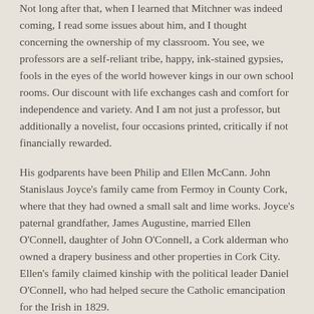Not long after that, when I learned that Mitchner was indeed coming, I read some issues about him, and I thought concerning the ownership of my classroom. You see, we professors are a self-reliant tribe, happy, ink-stained gypsies, fools in the eyes of the world however kings in our own school rooms. Our discount with life exchanges cash and comfort for independence and variety. And I am not just a professor, but additionally a novelist, four occasions printed, critically if not financially rewarded.
His godparents have been Philip and Ellen McCann. John Stanislaus Joyce's family came from Fermoy in County Cork, where that they had owned a small salt and lime works. Joyce's paternal grandfather, James Augustine, married Ellen O'Connell, daughter of John O'Connell, a Cork alderman who owned a drapery business and other properties in Cork City. Ellen's family claimed kinship with the political leader Daniel O'Connell, who had helped secure the Catholic emancipation for the Irish in 1829.
Ellroy's recounting of his alienated lust, his peeping tom historical past, his panic, his hatred, his performative racism and anti-Semitism, his ingesting, his drug use... All of it's laid out with unapologetic bareness and self-knowledge. This is who he was, in some methods perhaps who he nonetheless is, and he knows that.
I was intrigued by the premise of his fantasy trilogy and made a notice to look for it in the coming years. I had not read any of his